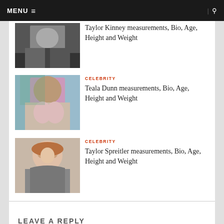MENU ☰  | 🔍
[Figure (photo): Thumbnail photo of Taylor Kinney in formal dark clothing]
Taylor Kinney measurements, Bio, Age, Height and Weight
CELEBRITY
[Figure (photo): Thumbnail photo of Teala Dunn seated outdoors]
Teala Dunn measurements, Bio, Age, Height and Weight
CELEBRITY
[Figure (photo): Thumbnail photo of Taylor Spreitler with red/auburn hair]
Taylor Spreitler measurements, Bio, Age, Height and Weight
LEAVE A REPLY